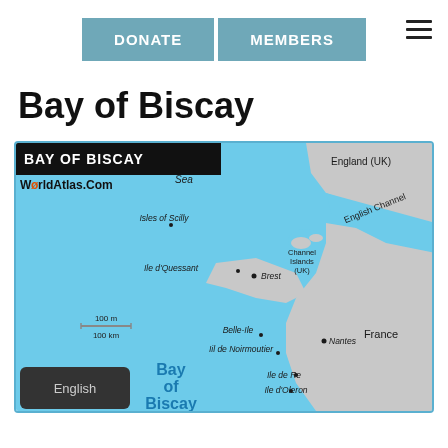DONATE  MEMBERS
Bay of Biscay
[Figure (map): Map of the Bay of Biscay showing surrounding regions including England (UK), France, Celtic Sea, English Channel, Channel Islands (UK), Isles of Scilly, Ile d'Quessant, Brest, Belle-Ile, Iil de Noirmoutier, Ile de Re, Ile d'Oleron, Nantes, and a scale bar showing 100 m / 100 km. WorldAtlas.Com branding. Language selector showing English.]